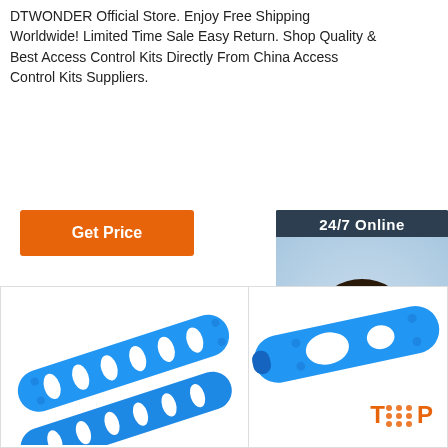DTWONDER Official Store. Enjoy Free Shipping Worldwide! Limited Time Sale Easy Return. Shop Quality & Best Access Control Kits Directly From China Access Control Kits Suppliers.
[Figure (other): Orange 'Get Price' button]
[Figure (other): 24/7 Online chat widget with photo of woman wearing headset, 'Click here for free chat!' text and orange QUOTATION button]
[Figure (photo): Close-up photo of blue plastic wristband with oval holes]
[Figure (photo): Close-up photo of blue plastic wristband with TOP logo badge in orange]